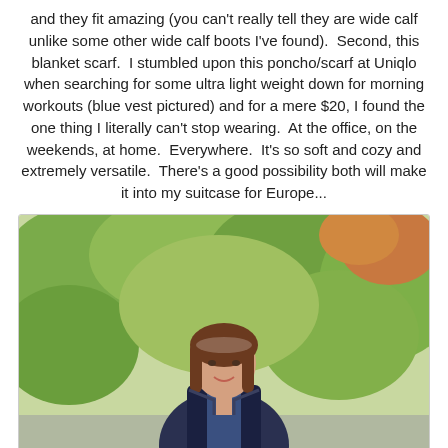and they fit amazing (you can't really tell they are wide calf unlike some other wide calf boots I've found).  Second, this blanket scarf.  I stumbled upon this poncho/scarf at Uniqlo when searching for some ultra light weight down for morning workouts (blue vest pictured) and for a mere $20, I found the one thing I literally can't stop wearing.  At the office, on the weekends, at home.  Everywhere.  It's so soft and cozy and extremely versatile.  There's a good possibility both will make it into my suitcase for Europe...
[Figure (photo): A woman with shoulder-length brown hair smiling, wearing a dark blue vest/jacket, standing outdoors in front of lush green trees and foliage.]